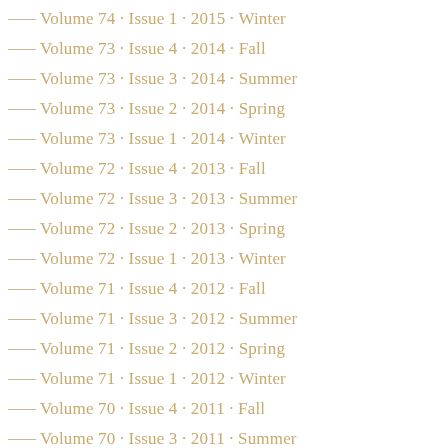Volume 74 · Issue 1 · 2015 · Winter
Volume 73 · Issue 4 · 2014 · Fall
Volume 73 · Issue 3 · 2014 · Summer
Volume 73 · Issue 2 · 2014 · Spring
Volume 73 · Issue 1 · 2014 · Winter
Volume 72 · Issue 4 · 2013 · Fall
Volume 72 · Issue 3 · 2013 · Summer
Volume 72 · Issue 2 · 2013 · Spring
Volume 72 · Issue 1 · 2013 · Winter
Volume 71 · Issue 4 · 2012 · Fall
Volume 71 · Issue 3 · 2012 · Summer
Volume 71 · Issue 2 · 2012 · Spring
Volume 71 · Issue 1 · 2012 · Winter
Volume 70 · Issue 4 · 2011 · Fall
Volume 70 · Issue 3 · 2011 · Summer
Volume 70 · Issue 2 · 2011 · Spring